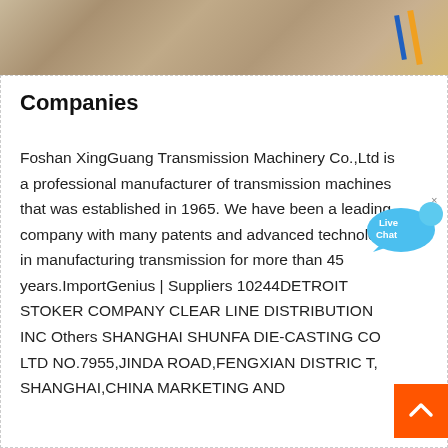[Figure (photo): Construction or industrial machinery photo strip at the top of the page, showing wooden/concrete materials with orange and blue accent bars on the right.]
Companies
Foshan XingGuang Transmission Machinery Co.,Ltd is a professional manufacturer of transmission machines that was established in 1965. We have been a leading company with many patents and advanced technology in manufacturing transmission for more than 45 years.ImportGenius | Suppliers 10244DETROIT STOKER COMPANY CLEAR LINE DISTRIBUTION INC Others SHANGHAI SHUNFA DIE-CASTING CO LTD NO.7955,JINDA ROAD,FENGXIAN DISTRIC T, SHANGHAI,CHINA MARKETING AND